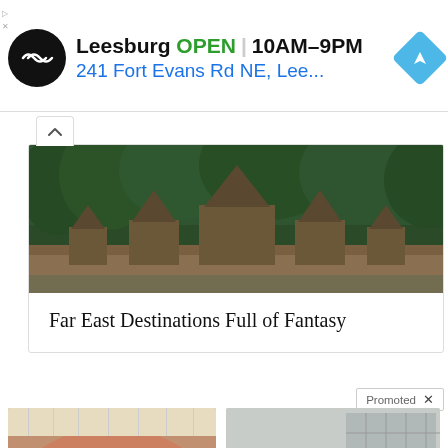[Figure (screenshot): Advertisement banner: circular black logo with chain icon, text 'Leesburg OPEN 10AM-9PM' and '241 Fort Evans Rd NE, Lee...' with blue navigation diamond icon]
[Figure (photo): Aerial/wide photo of Far East temple complex (Angkor Wat style) surrounded by dense green forest]
Far East Destinations Full of Fantasy
Promoted X
[Figure (photo): Close-up photo of mouth/tongue with small blue pill and video play button overlay]
4 Worst Blood Pressure Drugs (Avoid At All Costs)
59,209
[Figure (photo): Photo of olive/dark green SUV (Kia Telluride style) parked in front of building with large windows]
All-New SUVs For Seniors (Take A Look At The Pricing)
3,145